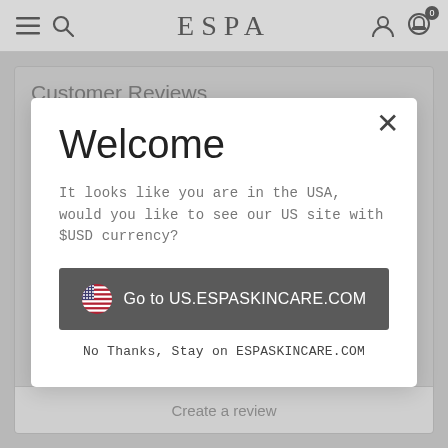ESPA
Customer Reviews
Welcome
It looks like you are in the USA, would you like to see our US site with $USD currency?
🇺🇸  Go to US.ESPASKINCARE.COM
No Thanks, Stay on ESPASKINCARE.COM
2 ★ | 0
1 ★ | 0